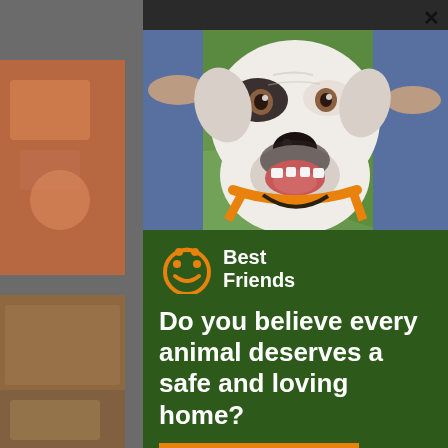[Figure (screenshot): Screenshot of a website with a modal popup overlay. Background shows a dimmed webpage with thumbnail images of pets on the left side. The modal contains a photo of a white pit bull dog with an orange harness being held by a person, a Best Friends Animal Society logo, bold white text asking 'Do you believe every animal deserves a safe and loving home?', and an orange 'I Agree »' button. An X close button is visible in the top right of the modal.]